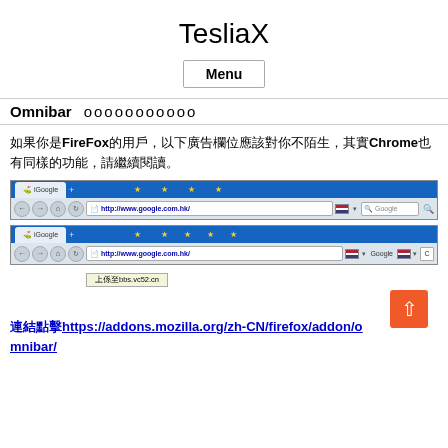TesliaX
Menu
Omnibar　　ооооооооооо
如果你是FireFox的用戶，以下廣告欄位應該對你不陌生，其實Chrome也有同樣的功能，請繼續閱讀。
[Figure (screenshot): Two screenshots of Google Chrome browser address bar (omnibar), the second showing an autocomplete popup with text '上係至bbs.vc52.cn']
連結點擊https://addons.mozilla.org/zh-CN/firefox/addon/omnibar/